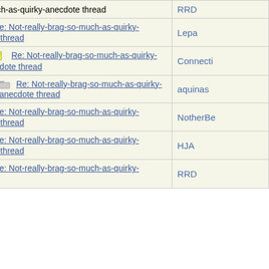| Subject | Author |
| --- | --- |
| brag-so-much-as-quirky-anecdote thread | RRD |
| Re: Not-really-brag-so-much-as-quirky-anecdote thread | Lepa |
| Re: Not-really-brag-so-much-as-quirky-anecdote thread | Connecti... |
| Re: Not-really-brag-so-much-as-quirky-anecdote thread | aquinas |
| Re: Not-really-brag-so-much-as-quirky-anecdote thread | NotherBe... |
| Re: Not-really-brag-so-much-as-quirky-anecdote thread | HJA |
| Re: Not-really-brag-so-much-as-quirky-anecdote thread | RRD |